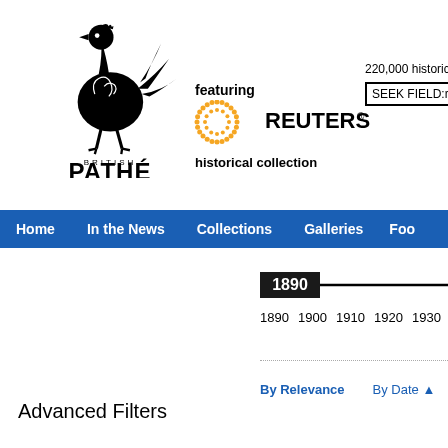[Figure (logo): British Pathé rooster logo with 'BRITISH PATHÉ' text below]
featuring
[Figure (logo): Reuters logo with orange dotted circle and 'REUTERS®' text]
historical collection
220,000 historical clips
SEEK FIELD:record_key
Home  In the News  Collections  Galleries  Foo
[Figure (other): Timeline slider showing 1890 selected, with years 1890 1900 1910 1920 1930]
Advanced Filters
By Relevance  By Date ▲